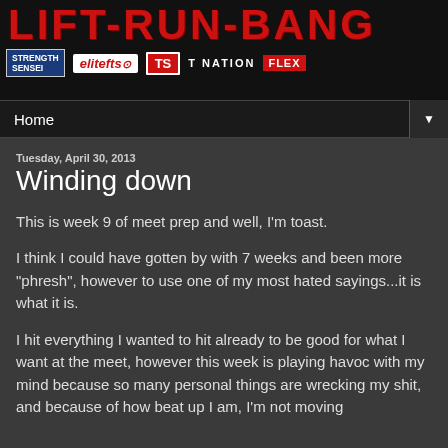[Figure (illustration): LIFT-RUN-BANG website header banner with red distressed title text and sponsor logos including Strength Sensei, elitefts, T-Nation, and FLEX]
Home ▼
Tuesday, April 30, 2013
Winding down
This is week 9 of meet prep and well, I'm toast.
I think I could have gotten by with 7 weeks and been more "phresh", however to use one of my most hated sayings...it is what it is.
I hit everything I wanted to hit already to be good for what I want at the meet, however this week is playing havoc with my mind because so many personal things are wrecking my shit, and because of how beat up I am, I'm not moving